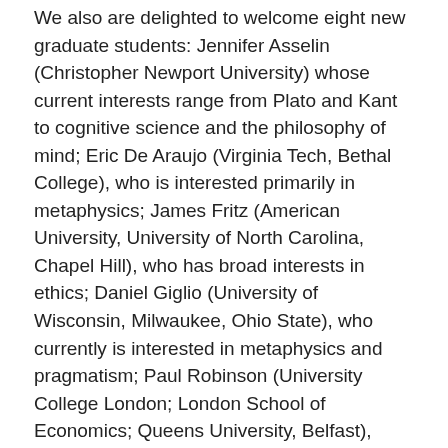We also are delighted to welcome eight new graduate students: Jennifer Asselin (Christopher Newport University) whose current interests range from Plato and Kant to cognitive science and the philosophy of mind; Eric De Araujo (Virginia Tech, Bethal College), who is interested primarily in metaphysics; James Fritz (American University, University of North Carolina, Chapel Hill), who has broad interests in ethics; Daniel Giglio (University of Wisconsin, Milwaukee, Ohio State), who currently is interested in metaphysics and pragmatism; Paul Robinson (University College London; London School of Economics; Queens University, Belfast), whose current interests include the philosophy of science, cognitive science, and decision theory; Giorgio Sbardolino (Universitá degli Studi di Milano), who has interests in logic and the philosophy of language; Stephen Sinclair (University of Miami, Florida), who wants to work on issues at the intersection of the epistemology and the philosophy of mind; and Chulmin Yoon (Sun Kyun Kwan University, Korea) who is interested primarily in the philosophy of language. We look forward to the